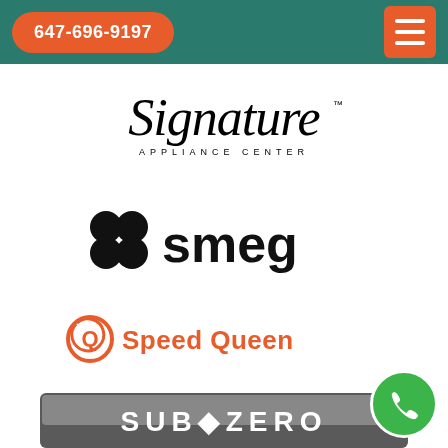647-696-9197 [menu button]
[Figure (logo): Signature Appliance Center logo — script font 'Signature' with 'APPLIANCE CENTER' in small caps below]
[Figure (logo): SMEG logo — four black circles arranged in 2x2 grid followed by 'smeg' in bold black lowercase sans-serif]
[Figure (logo): Speed Queen logo — orange circular icon with Q and arrow, followed by 'Speed Queen' in bold orange sans-serif]
[Figure (logo): Sub-Zero logo — partially visible at bottom of page, silver/grey metallic text on dark banner]